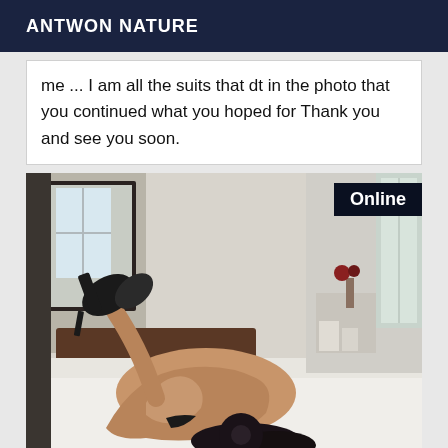ANTWON NATURE
me ... I am all the suits that dt in the photo that you continued what you hoped for Thank you and see you soon.
[Figure (photo): A woman lying on a white bed in a hotel/bedroom setting, wearing high heels, with a mirror and headboard visible in background. An 'Online' badge appears in top right corner.]